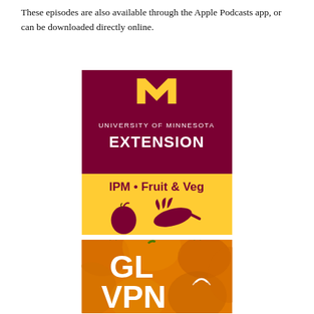These episodes are also available through the Apple Podcasts app, or can be downloaded directly online.
[Figure (logo): University of Minnesota Extension IPM Fruit & Veg podcast logo. Maroon background with gold M logo and white text 'UNIVERSITY OF MINNESOTA EXTENSION', below a gold section with dark red text 'IPM • Fruit & Veg' and silhouettes of an apple and carrot.]
[Figure (logo): GL VPN podcast logo. Background shows orange pumpkins, with large white bold text 'GL VPN' with a wifi/broadcast symbol over the N.]